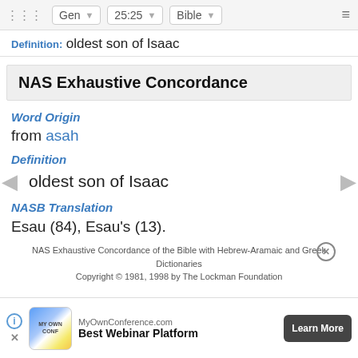Gen  25:25  Bible
Definition: oldest son of Isaac
NAS Exhaustive Concordance
Word Origin
from asah
Definition
oldest son of Isaac
NASB Translation
Esau (84), Esau's (13).
NAS Exhaustive Concordance of the Bible with Hebrew-Aramaic and Greek Dictionaries
Copyright © 1981, 1998 by The Lockman Foundation
MyOwnConference.com  Best Webinar Platform  Learn More